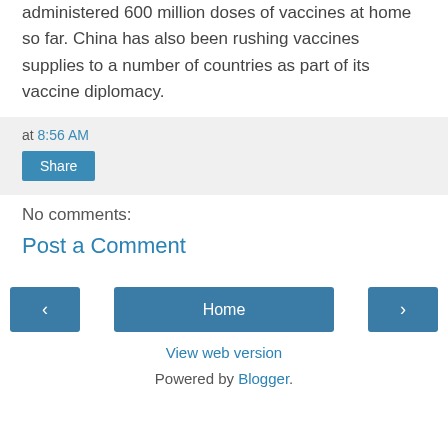administered 600 million doses of vaccines at home so far. China has also been rushing vaccines supplies to a number of countries as part of its vaccine diplomacy.
at 8:56 AM
Share
No comments:
Post a Comment
‹
Home
›
View web version
Powered by Blogger.